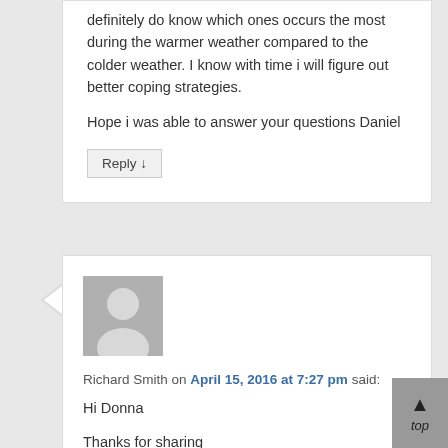definitely do know which ones occurs the most during the warmer weather compared to the colder weather. I know with time i will figure out better coping strategies.
Hope i was able to answer your questions Daniel
Reply ↓
[Figure (illustration): Generic grey avatar/profile image placeholder showing a silhouette of a person]
Richard Smith on April 15, 2016 at 7:27 pm said:
Hi Donna
Thanks for sharing